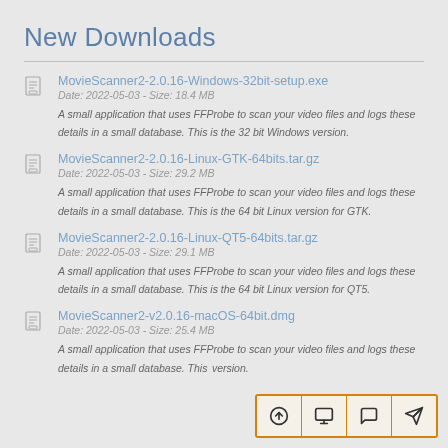New Downloads
MovieScanner2-2.0.16-Windows-32bit-setup.exe
Date: 2022-05-03 - Size: 18.4 MB
A small application that uses FFProbe to scan your video files and logs these details in a small database. This is the 32 bit Windows version.
MovieScanner2-2.0.16-Linux-GTK-64bits.tar.gz
Date: 2022-05-03 - Size: 29.2 MB
A small application that uses FFProbe to scan your video files and logs these details in a small database. This is the 64 bit Linux version for GTK.
MovieScanner2-2.0.16-Linux-QT5-64bits.tar.gz
Date: 2022-05-03 - Size: 29.1 MB
A small application that uses FFProbe to scan your video files and logs these details in a small database. This is the 64 bit Linux version for QT5.
MovieScanner2-v2.0.16-macOS-64bit.dmg
Date: 2022-05-03 - Size: 25.4 MB
A small application that uses FFProbe to scan your video files and logs these details in a small database. This is the ... version.
[Figure (screenshot): Toolbar with four icon buttons: upload arrow, monitor/display, speech bubble/comment, and navigation arrow. Bordered with orange outline.]